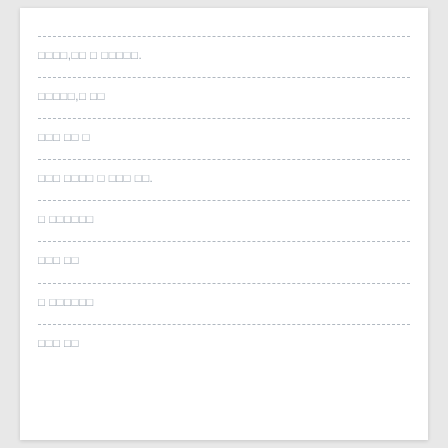□□□□,□□ □ □□□□□.
□□□□□,□ □□
□□□ □□ □
□□□ □□□□ □ □□□ □□.
□ □□□□□□
□□□ □□
□ □□□□□□
□□□ □□